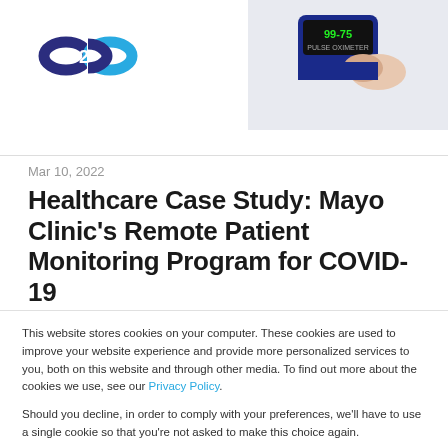[Figure (logo): C2C logo with two chain links, dark blue and cyan/teal colors]
[Figure (photo): Hand holding a blue pulse oximeter device showing readings]
Mar 10, 2022
Healthcare Case Study: Mayo Clinic's Remote Patient Monitoring Program for COVID-19
This website stores cookies on your computer. These cookies are used to improve your website experience and provide more personalized services to you, both on this website and through other media. To find out more about the cookies we use, see our Privacy Policy.
Should you decline, in order to comply with your preferences, we'll have to use a single cookie so that you're not asked to make this choice again.